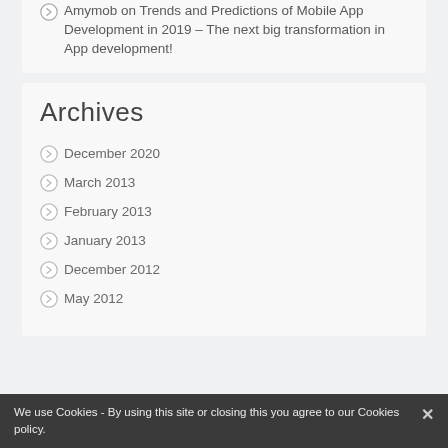Amymob on Trends and Predictions of Mobile App Development in 2019 – The next big transformation in App development!
Archives
December 2020
March 2013
February 2013
January 2013
December 2012
May 2012
We use Cookies - By using this site or closing this you agree to our Cookies policy.